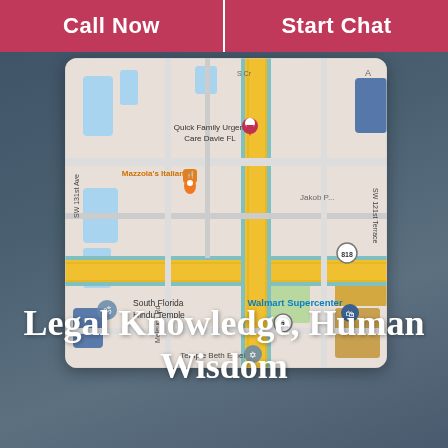Call Now
Start Chat
[Figure (map): Google Maps screenshot showing area near Davie, FL with landmarks including Quick Family Urgent Care Davie FL, Mazzola's Italian, South Florida Hindu Temple, Walmart Supercenter, Temple Beth Emet, roads SW 131st Ave, SW 121st Terrace, and route markers 818 and 823.]
Legal Knowledge, Human Wisdom